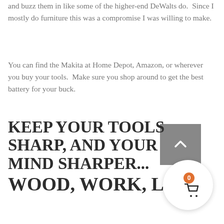and buzz them in like some of the higher-end DeWalts do.  Since I mostly do furniture this was a compromise I was willing to make.
You can find the Makita at Home Depot, Amazon, or wherever you buy your tools.  Make sure you shop around to get the best battery for your buck.
KEEP YOUR TOOLS SHARP, AND YOUR MIND SHARPER...
WOOD, WORK, LIFE